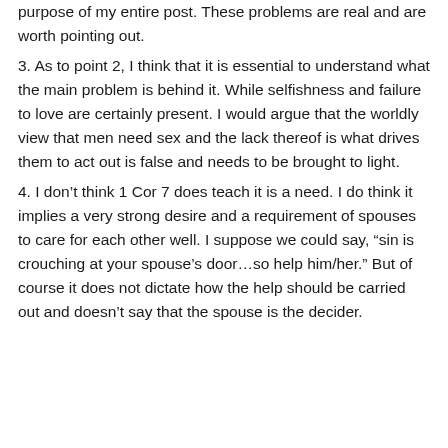purpose of my entire post. These problems are real and are worth pointing out.
3. As to point 2, I think that it is essential to understand what the main problem is behind it. While selfishness and failure to love are certainly present. I would argue that the worldly view that men need sex and the lack thereof is what drives them to act out is false and needs to be brought to light.
4. I don't think 1 Cor 7 does teach it is a need. I do think it implies a very strong desire and a requirement of spouses to care for each other well. I suppose we could say, “sin is crouching at your spouse’s door…so help him/her.” But of course it does not dictate how the help should be carried out and doesn’t say that the spouse is the decider.